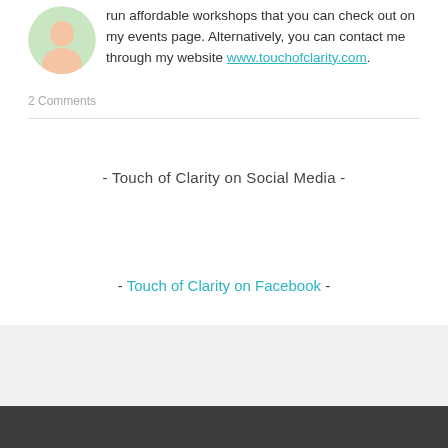run affordable workshops that you can check out on my events page. Alternatively, you can contact me through my website www.touchofclarity.com.
2 Comments
- Touch of Clarity on Social Media -
- Touch of Clarity on Facebook -